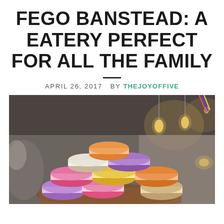FEGO BANSTEAD: A EATERY PERFECT FOR ALL THE FAMILY
APRIL 26, 2017  BY THEJOYOFFIVE
[Figure (photo): A stack of colorful macarons in pink, purple, orange, yellow, and white, displayed on a wooden board inside a restaurant with warm Edison bulb lighting in the background.]